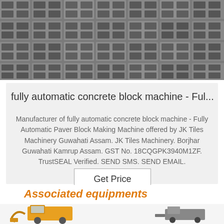[Figure (photo): Rows of grey concrete hollow blocks stacked on pallets, viewed from above at an angle.]
fully automatic concrete block machine - Ful...
Manufacturer of fully automatic concrete block machine - Fully Automatic Paver Block Making Machine offered by JK Tiles Machinery Guwahati Assam. JK Tiles Machinery. Borjhar Guwahati Kamrup Assam. GST No. 18CQGPK3940M1ZF. TrustSEAL Verified. SEND SMS. SEND EMAIL.
Get Price
Associated equipments
[Figure (photo): Construction equipment including a yellow wheeled loader and another machine partially visible on the right.]